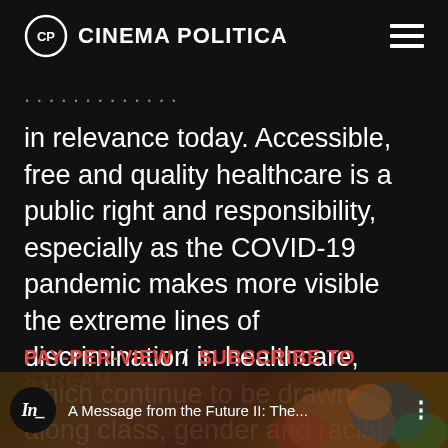Cinema Politica
in relevance today. Accessible, free and quality healthcare is a public right and responsibility, especially as the COVID-19 pandemic makes more visible the extreme lines of discrimination in healthcare, which continue to be drawn along class, gender and racial lines.
PAY-PER-VIEW / SUBSCRIBE TO STREAM
[Figure (screenshot): Video bar at bottom showing 'A Message from the Future II: The...' with a colorful illustrated background and a circular logo icon]